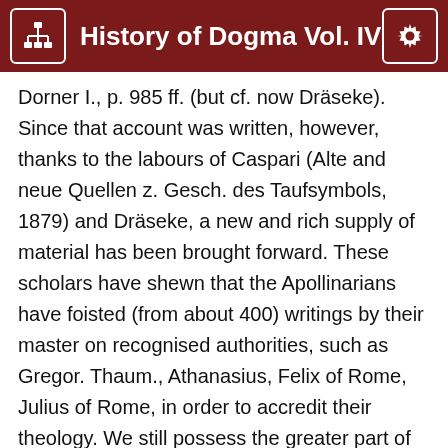History of Dogma Vol. IV
Dorner I., p. 985 ff. (but cf. now Dräseke). Since that account was written, however, thanks to the labours of Caspari (Alte and neue Quellen z. Gesch. des Taufsymbols, 1879) and Dräseke, a new and rich supply of material has been brought forward. These scholars have shewn that the Apollinarians have foisted (from about 400) writings by their master on recognised authorities, such as Gregor. Thaum., Athanasius, Felix of Rome, Julius of Rome, in order to accredit their theology. We still possess the greater part of these writings; see Caspari, Quellen, IV., p. 65 ff. (on the κατὰ μέρος πίστις); Dräseke in the Ztschr. f. K. Gesch. Vol. VI., VII., VIII., IX.; Jahrb. f. protest. Theol. IX., X., XIII., Ztschr. f.